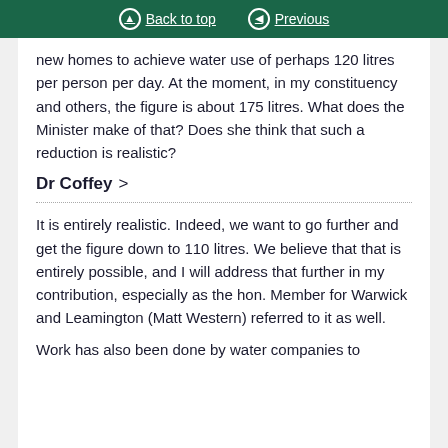Back to top | Previous
new homes to achieve water use of perhaps 120 litres per person per day. At the moment, in my constituency and others, the figure is about 175 litres. What does the Minister make of that? Does she think that such a reduction is realistic?
Dr Coffey >
It is entirely realistic. Indeed, we want to go further and get the figure down to 110 litres. We believe that that is entirely possible, and I will address that further in my contribution, especially as the hon. Member for Warwick and Leamington (Matt Western) referred to it as well.
Work has also been done by water companies to